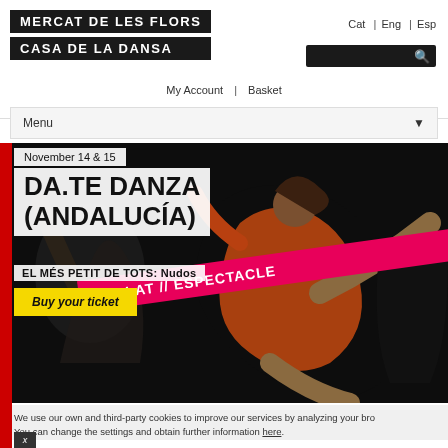[Figure (logo): Mercat de les Flors / Casa de la Dansa logo with white text on black background]
Cat | Eng | Esp
My Account | Basket
Menu
[Figure (photo): Dancers performing on stage with dark background; pink diagonal banner reading 'GEL·LAT // ESPECTACLE']
November 14 & 15
DA.TE DANZA (ANDALUCÍA)
EL MÉS PETIT DE TOTS: Nudos
Buy your ticket
We use our own and third-party cookies to improve our services by analyzing your bro You can change the settings and obtain further information here.
x